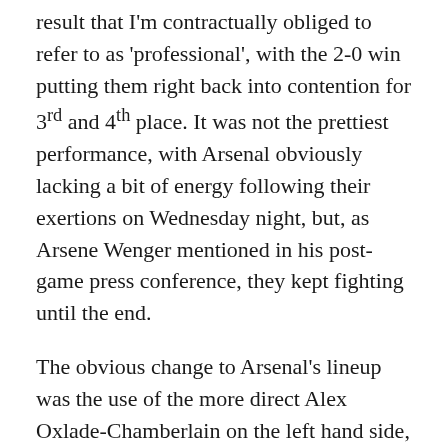result that I'm contractually obliged to refer to as 'professional', with the 2-0 win putting them right back into contention for 3rd and 4th place. It was not the prettiest performance, with Arsenal obviously lacking a bit of energy following their exertions on Wednesday night, but, as Arsene Wenger mentioned in his post-game press conference, they kept fighting until the end.
The obvious change to Arsenal's lineup was the use of the more direct Alex Oxlade-Chamberlain on the left hand side, with Santi Cazorla moving inside to #10. The idea behind this was obvious; Wenger expected, and wanted, Swansea to dominate possession, with Oxlade-Chamberlain and Walcott offering the counter attack option and the trickery to beat individual defenders. The plan nearly came off after 5 minutes;